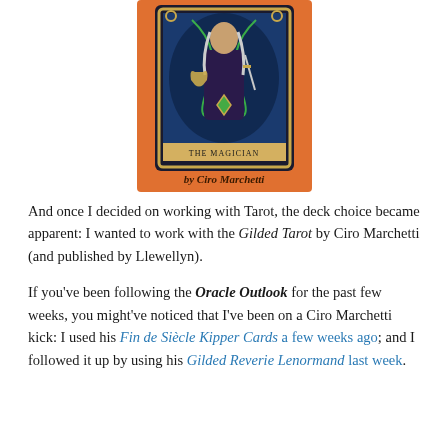[Figure (illustration): Cover of Gilded Tarot by Ciro Marchetti showing The Magician tarot card with a mystical figure holding magical items, on an orange background, with text 'by Ciro Marchetti' below the card]
And once I decided on working with Tarot, the deck choice became apparent: I wanted to work with the Gilded Tarot by Ciro Marchetti (and published by Llewellyn).
If you've been following the Oracle Outlook for the past few weeks, you might've noticed that I've been on a Ciro Marchetti kick: I used his Fin de Siècle Kipper Cards a few weeks ago; and I followed it up by using his Gilded Reverie Lenormand last week.